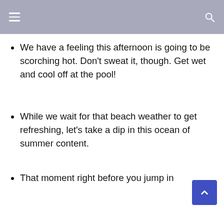We have a feeling this afternoon is going to be scorching hot. Don't sweat it, though. Get wet and cool off at the pool!
While we wait for that beach weather to get refreshing, let's take a dip in this ocean of summer content.
That moment right before you jump in